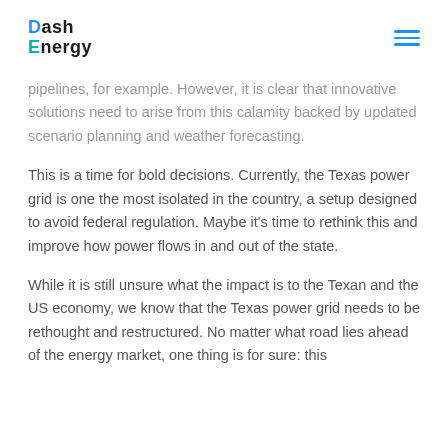Dash Energy
pipelines, for example. However, it is clear that innovative solutions need to arise from this calamity backed by updated scenario planning and weather forecasting.
This is a time for bold decisions. Currently, the Texas power grid is one the most isolated in the country, a setup designed to avoid federal regulation. Maybe it’s time to rethink this and improve how power flows in and out of the state.
While it is still unsure what the impact is to the Texan and the US economy, we know that the Texas power grid needs to be rethought and restructured. No matter what road lies ahead of the energy market, one thing is for sure: this